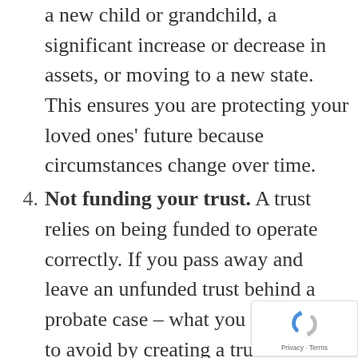a new child or grandchild, a significant increase or decrease in assets, or moving to a new state. This ensures you are protecting your loved ones' future because circumstances change over time.
Not funding your trust. A trust relies on being funded to operate correctly. If you pass away and leave an unfunded trust behind a probate case – what you were trying to avoid by creating a trust in the first place – is required to fund your trust post-death.
Too much given away, too soon. As much as 50 percent of inheritances are squandered shortly after being